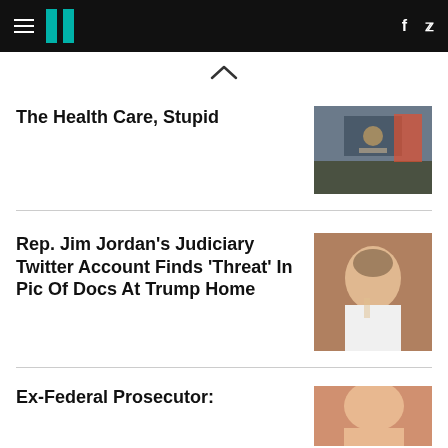HuffPost navigation bar with logo, hamburger menu, Facebook and Twitter icons
The Health Care, Stupid
[Figure (photo): Photo of a press conference scene with a presidential podium bearing the presidential seal, people standing around]
Rep. Jim Jordan's Judiciary Twitter Account Finds 'Threat' In Pic Of Docs At Trump Home
[Figure (photo): Photo of Rep. Jim Jordan, gray-haired man in white shirt pointing finger upward, stern expression]
Ex-Federal Prosecutor:
[Figure (photo): Partial photo of a person, partially visible at bottom of page]